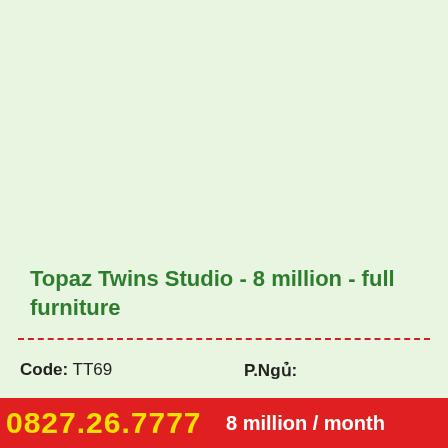Topaz Twins Studio - 8 million - full furniture
Code: TT69
P.Ngủ:
D.Tích: 47 m2
P.Tắm:
0827.26.7777   8 million / month